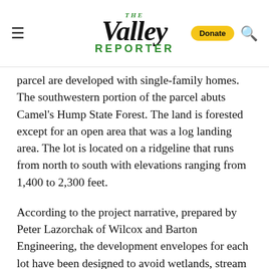The Valley Reporter
parcel are developed with single-family homes. The southwestern portion of the parcel abuts Camel's Hump State Forest. The land is forested except for an open area that was a log landing area. The lot is located on a ridgeline that runs from north to south with elevations ranging from 1,400 to 2,300 feet.
According to the project narrative, prepared by Peter Lazorchak of Wilcox and Barton Engineering, the development envelopes for each lot have been designed to avoid wetlands, stream buffers, steep slopes and structure setbacks from property lines.